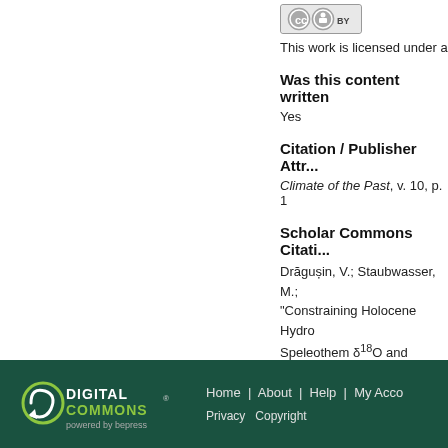[Figure (logo): Creative Commons BY license badge]
This work is licensed under a
Was this content written
Yes
Citation / Publisher Attr
Climate of the Past, v. 10, p. 1
Scholar Commons Citati
Drăgușin, V.; Staubwasser, M.; "Constraining Holocene Hydro Speleothem δ18O and Pollen-B Geosciences Faculty and Staff P https://digitalcommons.usf.edu
[Figure (logo): Digital Commons powered by bepress logo]
Home | About | Help | My Acco Privacy Copyright